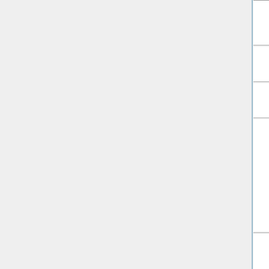| Code | Name | Description |
| --- | --- | --- |
|  |  | si...
pe... |
| han | Hanborough Gravel Member | Sa...
gr... |
| rtd4 | 4th river terrace deposits | Sa...
gr... |
| dasi | Dartford Silt Member | Va...
sil...
us...
ye...
br...
co...
wi...
sa... |
| figr | Finsbury Gravel Member | Sa...
gr...
lo...
le...
sil...
pe... |